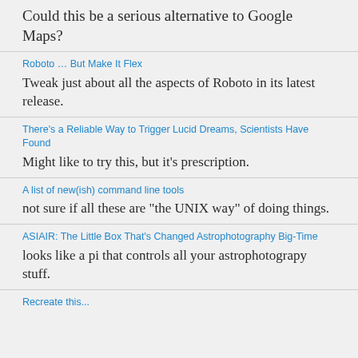Could this be a serious alternative to Google Maps?
Roboto … But Make It Flex
Tweak just about all the aspects of Roboto in its latest release.
There's a Reliable Way to Trigger Lucid Dreams, Scientists Have Found
Might like to try this, but it's prescription.
A list of new(ish) command line tools
not sure if all these are "the UNIX way" of doing things.
ASIAIR: The Little Box That's Changed Astrophotography Big-Time
looks like a pi that controls all your astrophotograpy stuff.
Recreate this...